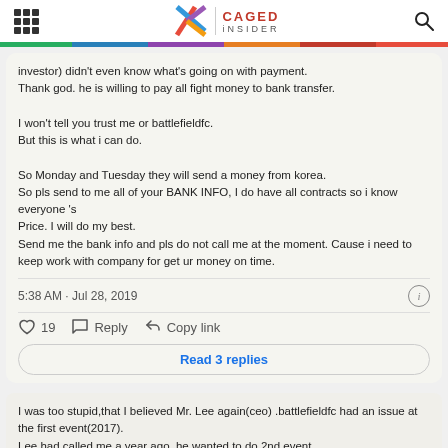CAGED INSIDER
investor) didn't even know what's going on with payment. Thank god. he is willing to pay all fight money to bank transfer.

I won't tell you trust me or battlefieldfc.
But this is what i can do.

So Monday and Tuesday they will send a money from korea.
So pls send to me all of your BANK INFO, I do have all contracts so i know everyone 's
Price. I will do my best.
Send me the bank info and pls do not call me at the moment. Cause i need to keep work with company for get ur money on time.
5:38 AM · Jul 28, 2019
19  Reply  Copy link
Read 3 replies
I was too stupid,that I believed Mr. Lee again(ceo) .battlefieldfc had an issue at the first event(2017).
Lee had called me a year ago, he wanted to do 2nd event.
So i told him that i will not work for him if he doesn't show me the money for fighters. he said he did and i believed.
That's the only the reason i work for him.